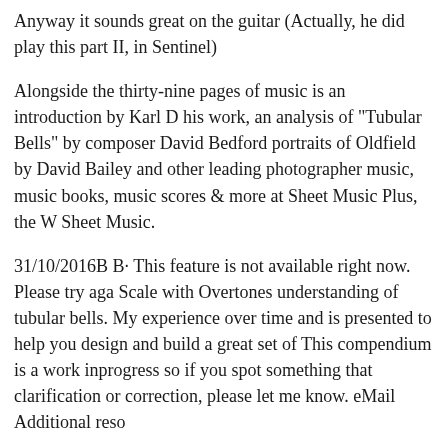Anyway it sounds great on the guitar (Actually, he did play this part II, in Sentinel)
Alongside the thirty-nine pages of music is an introduction by Karl D his work, an analysis of "Tubular Bells" by composer David Bedford portraits of Oldfield by David Bailey and other leading photographers music, music books, music scores & more at Sheet Music Plus, the W Sheet Music.
31/10/2016B B· This feature is not available right now. Please try aga Scale with Overtones understanding of tubular bells. My experience over time and is presented to help you design and build a great set of This compendium is a work inprogress so if you spot something that clarification or correction, please let me know. eMail Additional reso
Choose and determine which version of Tubular Bells chords and tab play. Last updated on 09.14.2016 19/04/2012B B· Mix - TUTORIAL PIANO (Intermediate/Advanced) YouTube What Made Bach Great? 1685-1750 (edit) - Duration: 13:46.